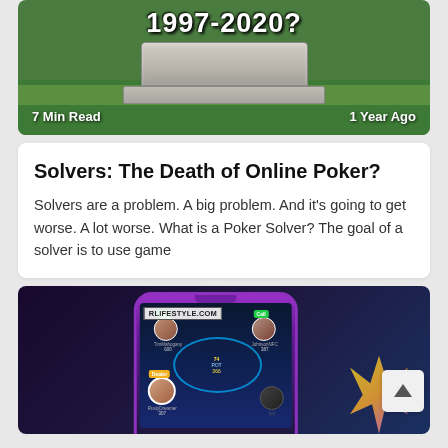[Figure (photo): Gravestone with text '1997-2020?' on green grass background with metadata '7 Min Read' and '1 Year Ago']
Solvers: The Death of Online Poker?
Solvers are a problem. A big problem. And it's going to get worse. A lot worse. What is a Poker Solver? The goal of a solver is to use game
[Figure (screenshot): Mobile phone screenshot showing an online poker game interface with players, avatars labeled 'Call', poker table, and a watermark 'RLIFESTYLE.COM']